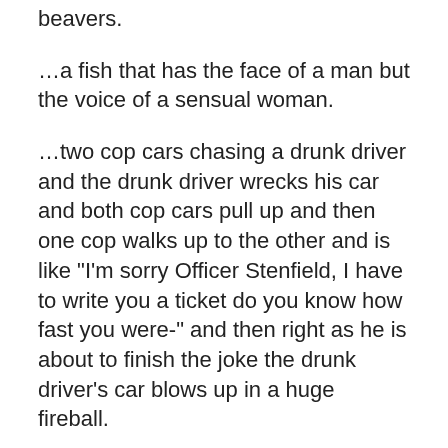beavers.
…a fish that has the face of a man but the voice of a sensual woman.
…two cop cars chasing a drunk driver and the drunk driver wrecks his car and both cop cars pull up and then one cop walks up to the other and is like "I'm sorry Officer Stenfield, I have to write you a ticket do you know how fast you were-" and then right as he is about to finish the joke the drunk driver's car blows up in a huge fireball.
…a bunch of kids at an isolated Victorian-style orphanage with a ruthless taskmaster of a headmistress who are just laughing and playing games.
…South Dakota